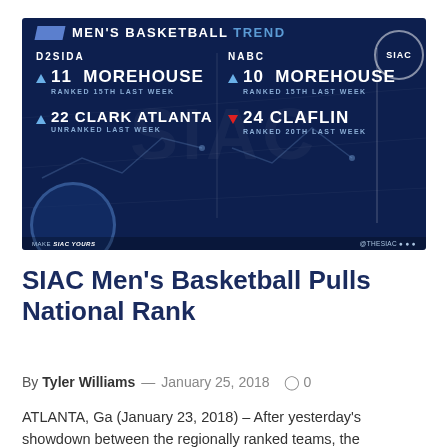[Figure (infographic): SIAC Men's Basketball Trend graphic showing D2SIDA rankings: #11 Morehouse (ranked 15th last week), #22 Clark Atlanta (unranked last week); and NABC rankings: #10 Morehouse (ranked 15th last week), #24 Claflin (ranked 20th last week). Dark navy background with SIAC logo.]
SIAC Men's Basketball Pulls National Rank
By Tyler Williams — January 25, 2018  0
ATLANTA, Ga (January 23, 2018) – After yesterday's showdown between the regionally ranked teams, the